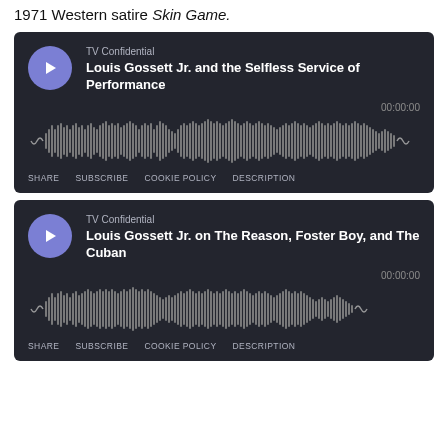1971 Western satire Skin Game.
[Figure (screenshot): Podcast player widget for 'TV Confidential - Louis Gossett Jr. and the Selfless Service of Performance' with play button, waveform visualization, timestamp 00:00:00, and action links SHARE, SUBSCRIBE, COOKIE POLICY, DESCRIPTION]
[Figure (screenshot): Podcast player widget for 'TV Confidential - Louis Gossett Jr. on The Reason, Foster Boy, and The Cuban' with play button, waveform visualization, timestamp 00:00:00, and action links SHARE, SUBSCRIBE, COOKIE POLICY, DESCRIPTION]